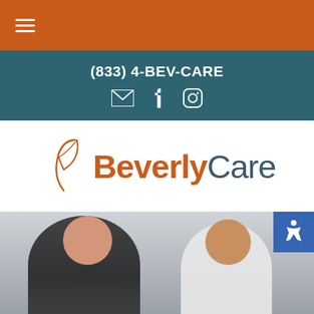Navigation menu bar with hamburger icon
(833) 4-BEV-CARE
[Figure (infographic): Social media icons: email/envelope, Facebook, Instagram on teal background]
[Figure (logo): BeverlyCare logo with orange leaf/feather icon and text Beverly in orange, Care in dark teal]
[Figure (photo): Photo of a woman wearing a black hijab holding a baby, with a male doctor in white coat, in a medical setting]